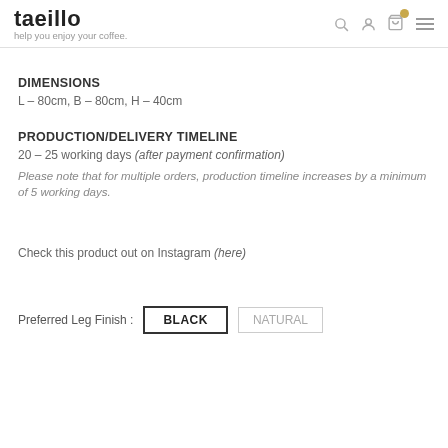taeillo — help you enjoy your coffee.
DIMENSIONS
L – 80cm, B – 80cm, H – 40cm
PRODUCTION/DELIVERY TIMELINE
20 – 25 working days (after payment confirmation)
Please note that for multiple orders, production timeline increases by a minimum of 5 working days.
Check this product out on Instagram (here)
Preferred Leg Finish : BLACK   NATURAL